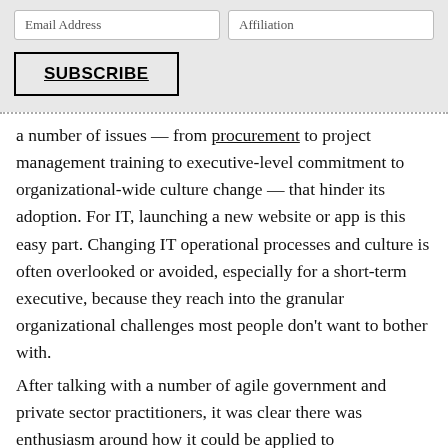[Figure (other): Email subscription form with Email Address and Affiliation input fields and a SUBSCRIBE button on a grey background]
a number of issues — from procurement to project management training to executive-level commitment to organizational-wide culture change — that hinder its adoption. For IT, launching a new website or app is this easy part. Changing IT operational processes and culture is often overlooked or avoided, especially for a short-term executive, because they reach into the granular organizational challenges most people don't want to bother with.
After talking with a number of agile government and private sector practitioners, it was clear there was enthusiasm around how it could be applied to fundamentally change the way government works. Beyond just execution from